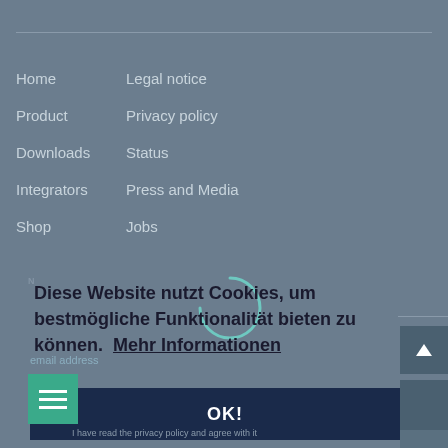Home
Legal notice
Product
Privacy policy
Downloads
Status
Integrators
Press and Media
Shop
Jobs
[Figure (screenshot): Loading spinner (partial arc) overlaid on navigation menu]
Diese Website nutzt Cookies, um bestmögliche Funktionalität bieten zu können.  Mehr Informationen
OK!
email address
I have read the privacy policy and agree with it